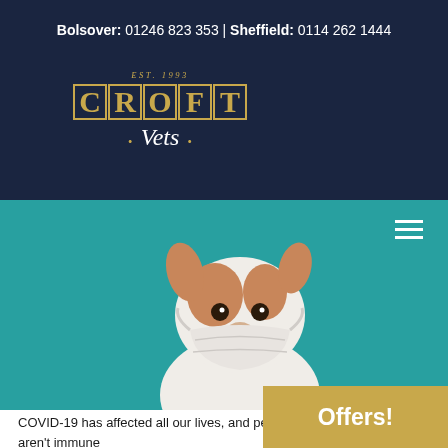Bolsover: 01246 823 353 | Sheffield: 0114 262 1444
[Figure (logo): Croft Vets logo with EST. 1993 text, gold lettered CROFT in bordered boxes, and italic white 'Vets' script with gold dots]
[Figure (photo): A small white and brown dog wearing a white face mask, sitting against a teal/turquoise background, looking at the camera]
COVID-19 has affected all our lives, and pets aren't immune from the changes. More and better vet...